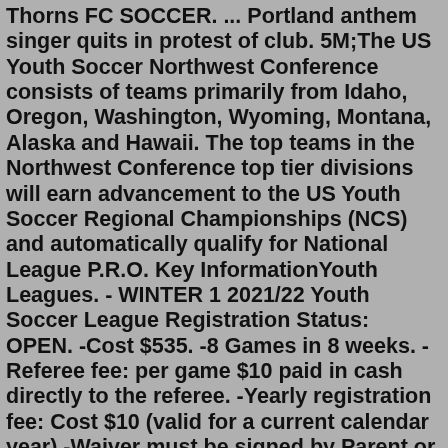Thorns FC SOCCER. ... Portland anthem singer quits in protest of club. 5M;The US Youth Soccer Northwest Conference consists of teams primarily from Idaho, Oregon, Washington, Wyoming, Montana, Alaska and Hawaii. The top teams in the Northwest Conference top tier divisions will earn advancement to the US Youth Soccer Regional Championships (NCS) and automatically qualify for National League P.R.O. Key InformationYouth Leagues. - WINTER 1 2021/22 Youth Soccer League Registration Status: OPEN. -Cost $535. -8 Games in 8 weeks. -Referee fee: per game $10 paid in cash directly to the referee. -Yearly registration fee: Cost $10 (valid for a current calendar year) -Waiver must be signed by Parent or Legal Guardian for players under 18 years of age.OVF Alliance is a 501(c)(3) non-profit youth soccer organization. Our membership includes youth from Albany, Oregon, Corvallis, Oregon, and surrounding communities in Linn, Benton, Marion, Polk, and Lane counties. Our members come from all socio-economic backgrounds